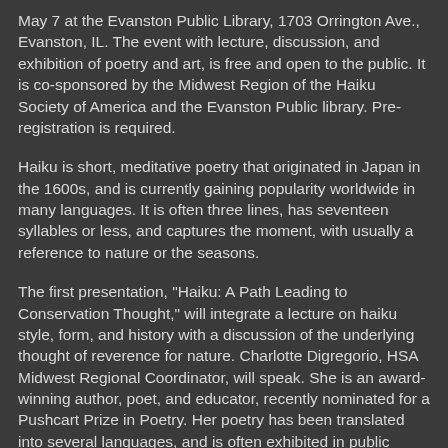May 7 at the Evanston Public Library, 1703 Orrington Ave., Evanston, IL. The event with lecture, discussion, and exhibition of poetry and art, is free and open to the public. It is co-sponsored by the Midwest Region of the Haiku Society of America and the Evanston Public library. Pre-registration is required.
Haiku is short, meditative poetry that originated in Japan in the 1600s, and is currently gaining popularity worldwide in many languages. It is often three lines, has seventeen syllables or less, and captures the moment, with usually a reference to nature or the seasons.
The first presentation, "Haiku: A Path Leading to Conservation Thought," will integrate a lecture on haiku style, form, and history with a discussion of the underlying thought of reverence for nature. Charlotte Digregorio, HSA Midwest Regional Coordinator, will speak. She is an award-winning author, poet, and educator, recently nominated for a Pushcart Prize in Poetry. Her poetry has been translated into several languages, and is often exhibited in public venues.